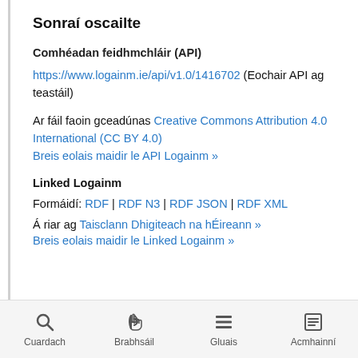Sonraí oscailte
Comhéadan feidhmchláir (API)
https://www.logainm.ie/api/v1.0/1416702 (Eochair API ag teastáil)
Ar fáil faoin gceadúnas Creative Commons Attribution 4.0 International (CC BY 4.0)
Breis eolais maidir le API Logainm »
Linked Logainm
Formáidí: RDF | RDF N3 | RDF JSON | RDF XML
Á riar ag Taisclann Dhigiteach na hÉireann »
Breis eolais maidir le Linked Logainm »
Cuardach | Brabhsáil | Gluais | Acmhainní